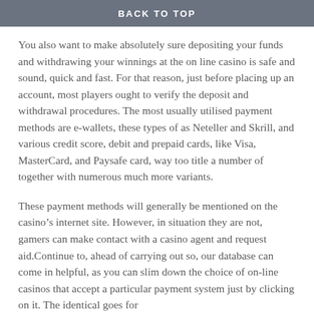BACK TO TOP
You also want to make absolutely sure depositing your funds and withdrawing your winnings at the on line casino is safe and sound, quick and fast. For that reason, just before placing up an account, most players ought to verify the deposit and withdrawal procedures. The most usually utilised payment methods are e-wallets, these types of as Neteller and Skrill, and various credit score, debit and prepaid cards, like Visa, MasterCard, and Paysafe card, way too title a number of together with numerous much more variants.
These payment methods will generally be mentioned on the casino’s internet site. However, in situation they are not, gamers can make contact with a casino agent and request aid.Continue to, ahead of carrying out so, our database can come in helpful, as you can slim down the choice of on-line casinos that accept a particular payment system just by clicking on it. The identical goes for